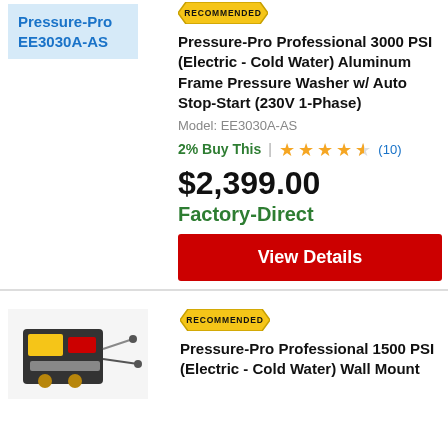[Figure (other): Product image placeholder with blue label showing Pressure-Pro EE3030A-AS]
[Figure (other): Recommended badge (gold hexagon shape)]
Pressure-Pro Professional 3000 PSI (Electric - Cold Water) Aluminum Frame Pressure Washer w/ Auto Stop-Start (230V 1-Phase)
Model: EE3030A-AS
2% Buy This | ★★★★½ (10)
$2,399.00
Factory-Direct
View Details
[Figure (photo): Photo of Pressure-Pro 1500 PSI wall mount pressure washer unit]
[Figure (other): Recommended badge (gold hexagon shape)]
Pressure-Pro Professional 1500 PSI (Electric - Cold Water) Wall Mount